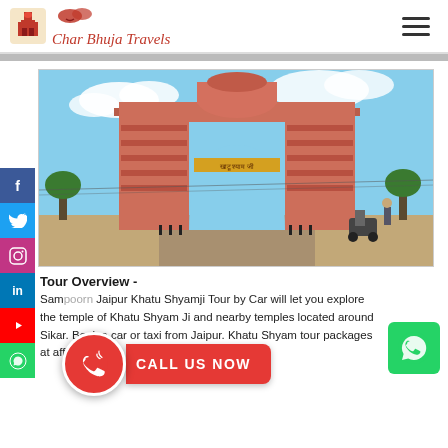Char Bhuja Travels
[Figure (photo): Red sandstone ornamental arch gate (entry gate to Khatu Shyam Ji) against a blue sky with clouds; motorcycles and people visible in foreground]
Tour Overview -
Sampoorn Jaipur Khatu Shyamji Tour by Car will let you explore the temple of Khatu Shyam Ji and nearby temples located around Sikar. Book a car or taxi from Jaipur. Khatu Shyam tour packages at affordable price.